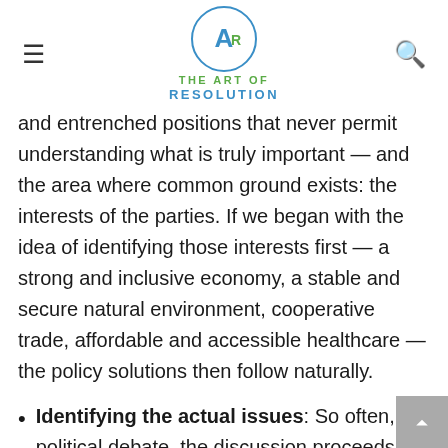THE ART OF RESOLUTION
and entrenched positions that never permit understanding what is truly important — and the area where common ground exists: the interests of the parties. If we began with the idea of identifying those interests first — a strong and inclusive economy, a stable and secure natural environment, cooperative trade, affordable and accessible healthcare — the policy solutions then follow naturally.
Identifying the actual issues: So often, in political debate, the discussion proceeds without defining the problems to be addressed clearly? What really needs to be decided? Before working on potential